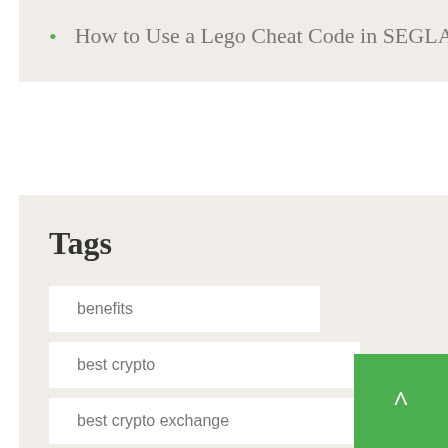How to Use a Lego Cheat Code in SEGLAR Star Battles: The Skywalker Saga
Tags
benefits
best crypto
best crypto exchange
bonus codes
bonus veren